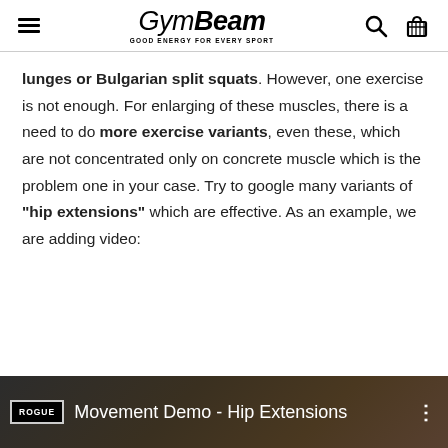GymBeam — GOOD ENERGY FOR EVERY SPORT
lunges or Bulgarian split squats. However, one exercise is not enough. For enlarging of these muscles, there is a need to do more exercise variants, even these, which are not concentrated only on concrete muscle which is the problem one in your case. Try to google many variants of "hip extensions" which are effective. As an example, we are adding video:
[Figure (screenshot): Video thumbnail showing a gym setting with ROGUE branding, titled 'Movement Demo - Hip Extensions']